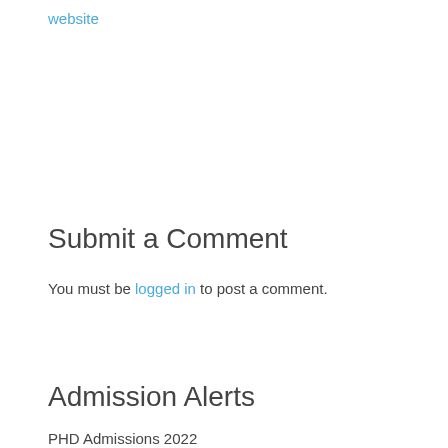website
Submit a Comment
You must be logged in to post a comment.
Admission Alerts
PHD Admissions 2022